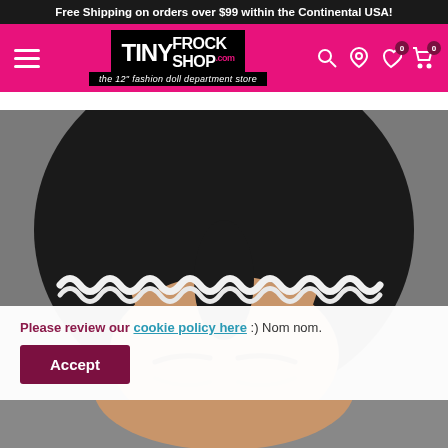Free Shipping on orders over $99 within the Continental USA!
[Figure (logo): TinyFrockShop.com logo with tagline 'the 12" fashion doll department store' on pink navigation bar]
[Figure (photo): Close-up photo of a fashion doll head with dark hair and a white ric-rac headband]
Please review our cookie policy here :) Nom nom.
Accept